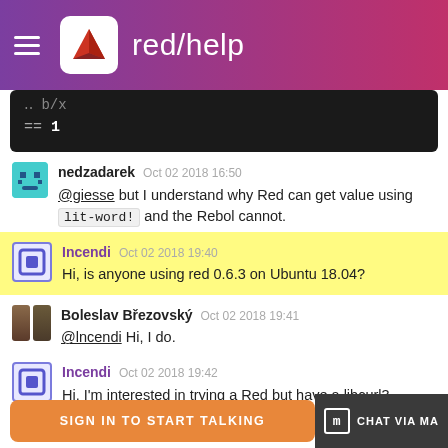red/help
[Figure (screenshot): Code block showing '== 1' on dark background]
nedzadarek  Oct 02 2018 16:50
@giesse but I understand why Red can get value using lit-word! and the Rebol cannot.
Incendi  Oct 02 2018 19:40
Hi, is anyone using red 0.6.3 on Ubuntu 18.04?
Boleslav Březovský  Oct 02 2018 19:41
@lncendi Hi, I do.
Incendi  Oct 02 2018 19:42
Hi, I'm interested in trying a Red but have a libcurl3 dependency issue
SIGN IN TO START TALKING   [m] CHAT VIA MA